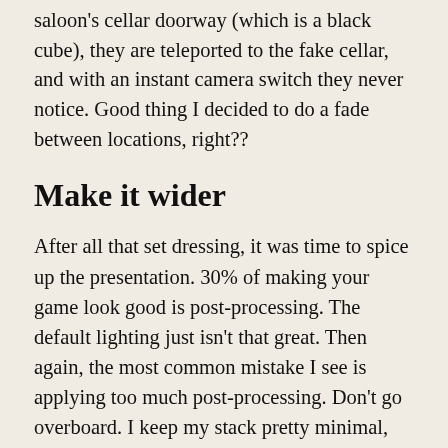saloon's cellar doorway (which is a black cube), they are teleported to the fake cellar, and with an instant camera switch they never notice. Good thing I decided to do a fade between locations, right??
Make it wider
After all that set dressing, it was time to spice up the presentation. 30% of making your game look good is post-processing. The default lighting just isn't that great. Then again, the most common mistake I see is applying too much post-processing. Don't go overboard. I keep my stack pretty minimal, with a subtle bloom, vignette, some color grading, and anti-aliasing. But for this project I wanted to go a little further.